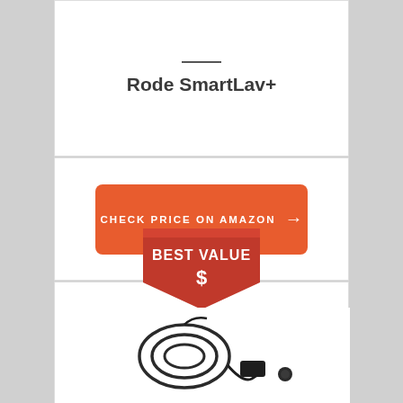Rode SmartLav+
CHECK PRICE ON AMAZON →
[Figure (infographic): Red chevron/shield badge with text BEST VALUE and dollar sign $]
[Figure (photo): Rode SmartLav+ lavalier microphone with cable coiled, showing clip-on mic head and body pack]